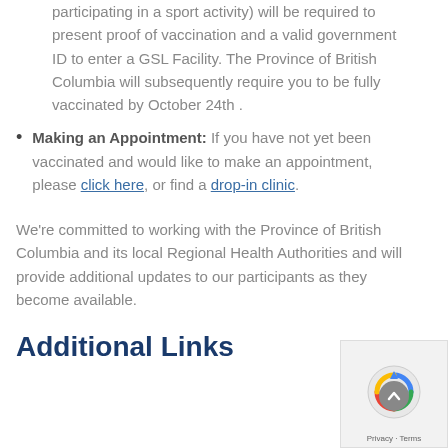participating in a sport activity) will be required to present proof of vaccination and a valid government ID to enter a GSL Facility. The Province of British Columbia will subsequently require you to be fully vaccinated by October 24th .
Making an Appointment: If you have not yet been vaccinated and would like to make an appointment, please click here, or find a drop-in clinic.
We're committed to working with the Province of British Columbia and its local Regional Health Authorities and will provide additional updates to our participants as they become available.
Additional Links